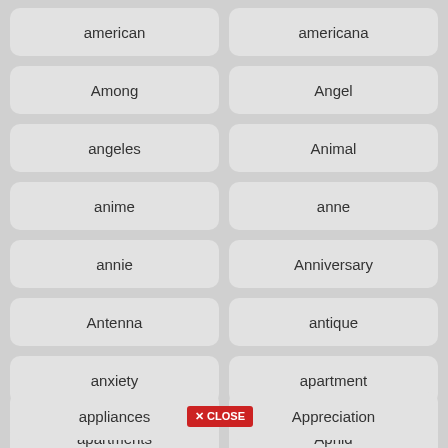american
americana
Among
Angel
angeles
Animal
anime
anne
annie
Anniversary
Antenna
antique
anxiety
apartment
apartments
Aphid
apple
appliance
appliances
Appreciation